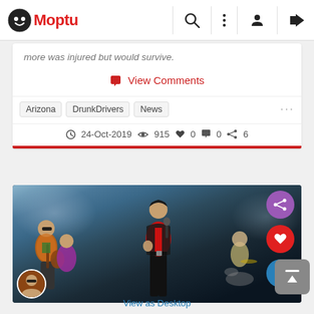[Figure (logo): Moptu logo with smiley face icon and red text]
more was injured but would survive.
🗨 View Comments
Arizona  DrunkDrivers  News  ...
24-Oct-2019  915  0  0  6
[Figure (photo): Concert photo showing rock band performers on stage with purple stage lighting. A lead singer in red shirt and black jacket holds a microphone. Other band members including a guitarist and drummer are visible in the background.]
View as Desktop